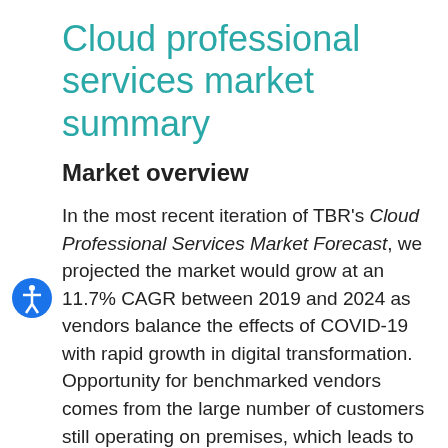Cloud professional services market summary
Market overview
In the most recent iteration of TBR's Cloud Professional Services Market Forecast, we projected the market would grow at an 11.7% CAGR between 2019 and 2024 as vendors balance the effects of COVID-19 with rapid growth in digital transformation. Opportunity for benchmarked vendors comes from the large number of customers still operating on premises, which leads to the need for advisory, consulting and implementation services, as plans to shift to the cloud come to fruition. Additionally, the pandemic will